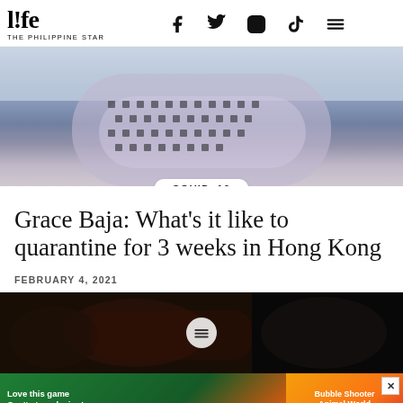l!fe THE PHILIPPINE STAR
[Figure (photo): Person in checkered/gingham dress with arms crossed, upper body and torso visible, light background]
COVID-19
Grace Baja: What’s it like to quarantine for 3 weeks in Hong Kong
FEBRUARY 4, 2021
[Figure (photo): Dark image showing animals or figures, carousel navigation button visible]
[Figure (other): Advertisement banner: Love this game Can't stop playing! Download Now — Bubble Shooter Animal World]